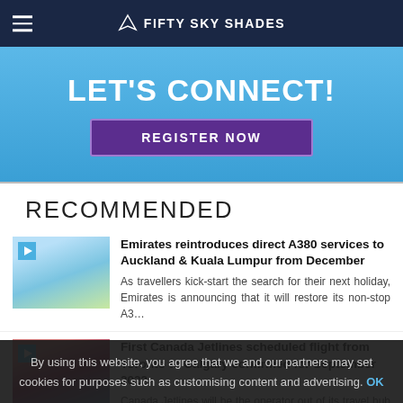FIFTY SKY SHADES
[Figure (screenshot): Banner advertisement with blue gradient background, 'LET'S CONNECT!' heading and 'REGISTER NOW' purple button]
RECOMMENDED
[Figure (photo): Thumbnail of airplane on runway for Emirates A380 article]
Emirates reintroduces direct A380 services to Auckland & Kuala Lumpur from December
As travellers kick-start the search for their next holiday, Emirates is announcing that it will restore its non-stop A3…
[Figure (photo): Thumbnail of airport for Canada Jetlines article]
First Canada Jetlines scheduled flight from Toronto to Calgary confirmed for September 2022
Canada Jetlines will be the operator out of its travel hub at Toronto Pearson International Airport (YYZ), with its fir…
[Figure (photo): Thumbnail for Etihad pilot article]
Etihad pilot makes history as UAE first female
By using this website, you agree that we and our partners may set cookies for purposes such as customising content and advertising. OK